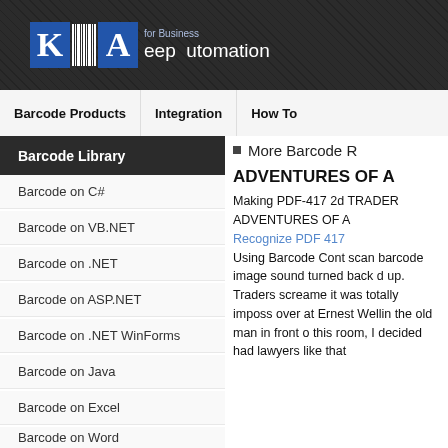Keep Automation for Business
Barcode Products | Integration | How To
Barcode Library
Barcode on C#
Barcode on VB.NET
Barcode on .NET
Barcode on ASP.NET
Barcode on .NET WinForms
Barcode on Java
Barcode on Excel
Barcode on Word
Barcode on Crystal Reports
Barcode on Reporting Services
More Barcode R
ADVENTURES OF A
Making PDF-417 2d TRADER ADVENTURES OF A Recognize PDF 417 Using Barcode Cont scan barcode image sound turned back d up. Traders screame it was totally imposs over at Ernest Wellin the old man in front o this room, I decided had lawyers like that